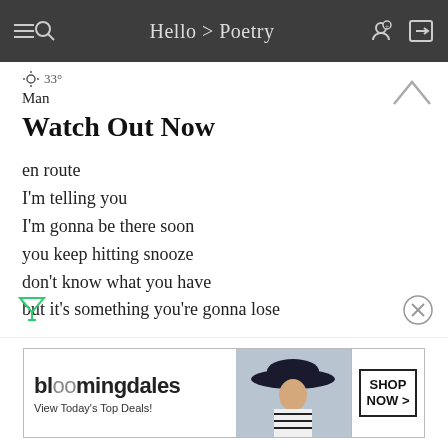Hello > Poetry
33°
Man
Watch Out Now
en route
I'm telling you
I'm gonna be there soon
you keep hitting snooze
don't know what you have
but it's something you're gonna lose
Continue reading...
[Figure (other): Bloomingdale's advertisement banner showing logo, 'View Today's Top Deals!' tagline, woman with hat, and SHOP NOW > button]